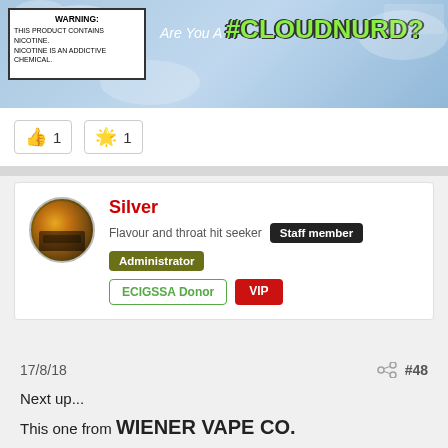[Figure (screenshot): Top banner image showing a warning label box and Are You A #CLOUDNURD? text on a smoky blue background]
[Figure (screenshot): Reaction buttons: thumbs up with count 1, and star/favorite with count 1]
[Figure (screenshot): User profile card for Silver showing avatar (Colosseum photo), username in red, subtitle 'Flavour and throat hit seeker', badges: Staff member, Administrator, ECIGSSA Donor, VIP]
17/8/18
#48
Next up...
This one from WIENER VAPE CO.
[Figure (photo): Dark photograph showing people with a large white W logo/mark in the center, Wiener Vape Co branding]